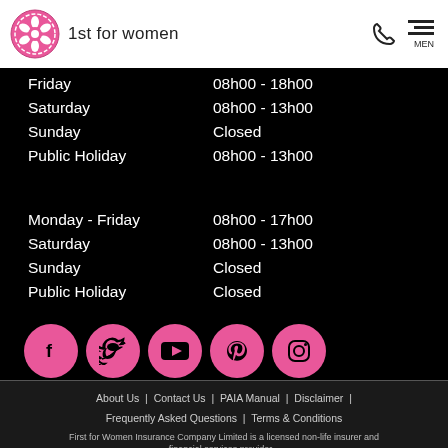[Figure (logo): 1st for women logo — pink badge icon with flower and text '1st for women']
| Day | Hours |
| --- | --- |
| Friday | 08h00 - 18h00 |
| Saturday | 08h00 - 13h00 |
| Sunday | Closed |
| Public Holiday | 08h00 - 13h00 |
| Day | Hours |
| --- | --- |
| Monday - Friday | 08h00 - 17h00 |
| Saturday | 08h00 - 13h00 |
| Sunday | Closed |
| Public Holiday | Closed |
[Figure (other): Row of 5 pink circular social media icons: Facebook, Twitter, YouTube, Pinterest, Instagram]
About Us | Contact Us | PAIA Manual | Disclaimer | Frequently Asked Questions | Terms & Conditions
First for Women Insurance Company Limited is a licensed non-life insurer and financial services provider...